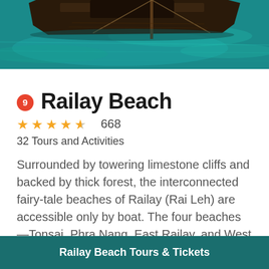[Figure (photo): Overhead view of a dark wooden longtail boat on teal/turquoise water, partially cropped at top of page]
9 Railay Beach
★★★★½ 668
32 Tours and Activities
Surrounded by towering limestone cliffs and backed by thick forest, the interconnected fairy-tale beaches of Railay (Rai Leh) are accessible only by boat. The four beaches—Tonsai, Phra Nang, East Railay, and West Railay—offer
Read More
Railay Beach Tours & Tickets